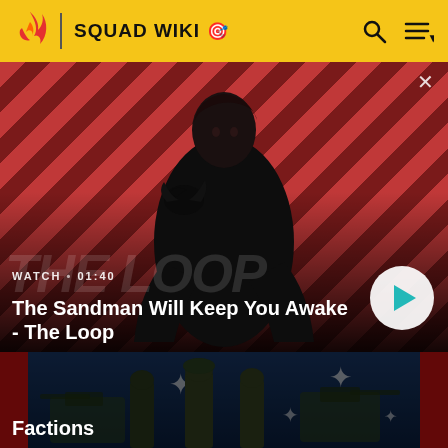SQUAD WIKI
[Figure (screenshot): Featured video thumbnail: The Sandman Will Keep You Awake - The Loop. Dark figure with raven on shoulder against diagonal red/dark stripe background. Watch time 01:40 shown. Play button visible.]
WATCH • 01:40
The Sandman Will Keep You Awake - The Loop
[Figure (screenshot): Factions section thumbnail: Military soldiers with Australian flag in background, dark overlay.]
Factions